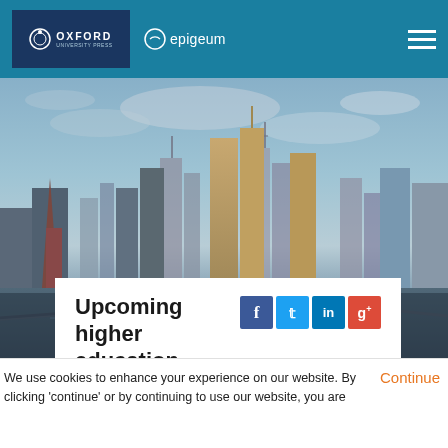Oxford University Press | epigeum
[Figure (photo): City skyline photograph showing modern high-rise buildings and skyscrapers against a partly cloudy sky, with a river and bridge visible in the lower right. Appears to be Melbourne, Australia.]
Upcoming higher education conferences in
We use cookies to enhance your experience on our website. By clicking 'continue' or by continuing to use our website, you are